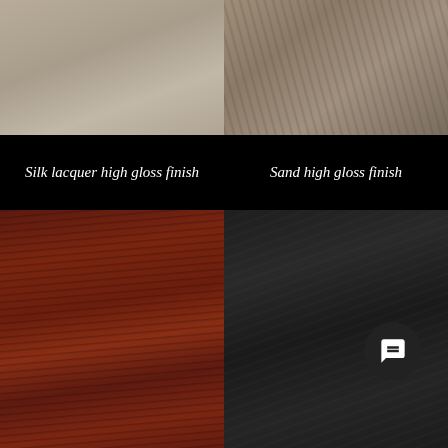[Figure (photo): Silk lacquer high gloss finish swatch - beige/tan smooth surface (cropped top)]
[Figure (photo): Sand high gloss finish swatch - sandy brown textured surface (cropped top)]
Silk lacquer high gloss finish
Sand high gloss finish
[Figure (photo): Piuma Mahogany matte finish swatch - dark reddish-brown wood grain]
[Figure (photo): Marocco matte finish swatch - very dark charcoal/black textured surface]
Piuma Mahogany matte finish
Marocco matte finish
[Figure (photo): Gold/brass metallic finish swatch - golden shimmering texture (cropped bottom)]
[Figure (photo): Brown walnut wood finish swatch with chat button overlay (cropped bottom)]